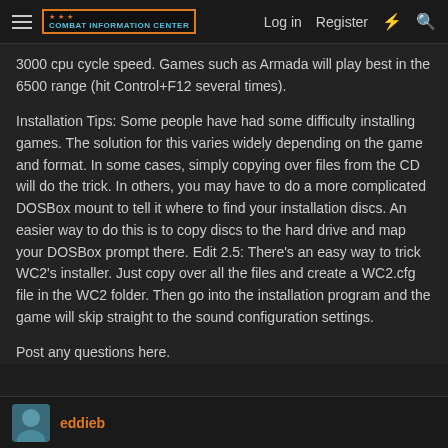Combat Information Center — Log in | Register
3000 cpu cycle speed. Games such as Armada will play best in the 6500 range (hit Control+F12 several times).
Installation Tips: Some people have had some difficulty installing games. The solution for this varies widely depending on the game and format. In some cases, simply copying over files from the CD will do the trick. In others, you may have to do a more complicated DOSBox mount to tell it where to find your installation discs. An easier way to do this is to copy discs to the hard drive and map your DOSBox prompt there. Edit 2.5: There's an easy way to trick WC2's installer. Just copy over all the files and create a WC2.cfg file in the WC2 folder. Then go into the installation program and the game will skip straight to the sound configuration settings.
Post any questions here.
eddieb